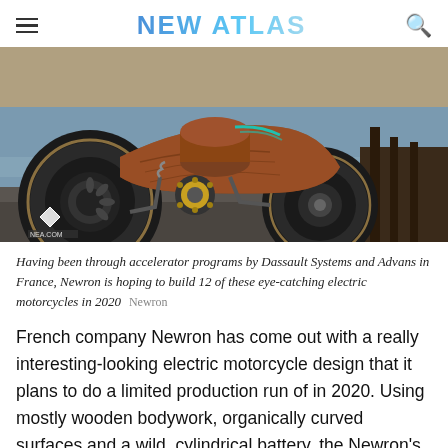NEW ATLAS
[Figure (photo): A wooden-bodied electric motorcycle concept by Newron, shown from a low angle on pavement near water. The bike features organic curved wooden bodywork, a cylindrical battery, and large exposed mechanical wheels. A small diamond-shaped logo is visible in the lower left corner.]
Having been through accelerator programs by Dassault Systems and Advans in France, Newron is hoping to build 12 of these eye-catching electric motorcycles in 2020  Newron
French company Newron has come out with a really interesting-looking electric motorcycle design that it plans to do a limited production run of in 2020. Using mostly wooden bodywork, organically curved surfaces and a wild, cylindrical battery, the Newron's a very cool design.